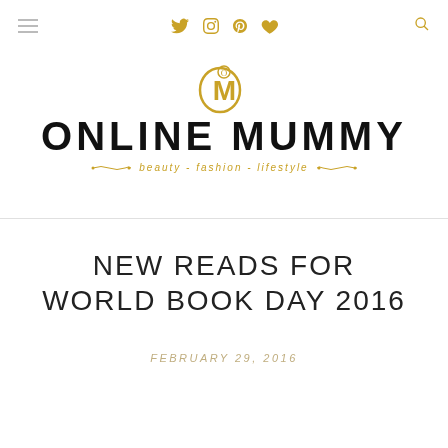Navigation bar with hamburger menu, social icons (Twitter, Instagram, Pinterest, Heart), and search icon
[Figure (logo): Online Mummy blog logo — stylized OM monogram in gold above bold black ONLINE MUMMY text with gold decorative tagline 'beauty - fashion - lifestyle']
NEW READS FOR WORLD BOOK DAY 2016
FEBRUARY 29, 2016